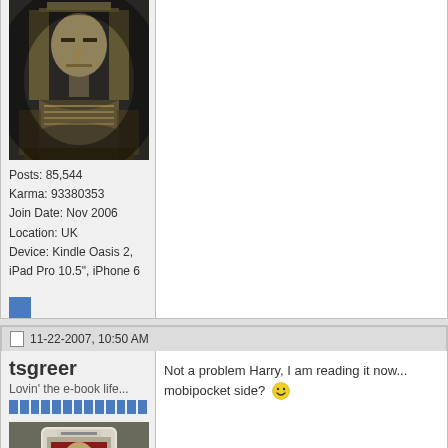[Figure (photo): Egyptian pharaoh statue avatar image]
Posts: 85,544
Karma: 93380353
Join Date: Nov 2006
Location: UK
Device: Kindle Oasis 2, iPad Pro 10.5", iPhone 6
[Figure (other): Blue send/reputation button square]
11-22-2007, 10:50 AM
tsgreer
Lovin' the e-book life...
[Figure (photo): User avatar showing a person holding an e-reader device]
Not a problem Harry, I am reading it now... mobipocket side? :)